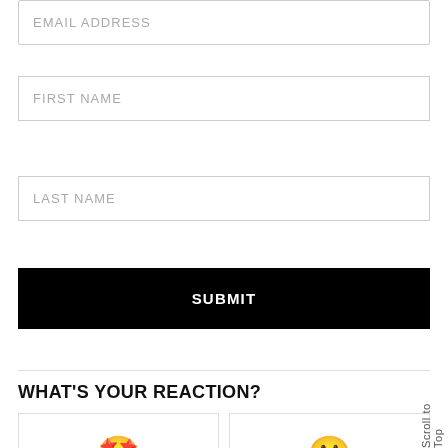EMAIL ADDRESS
FIRST NAME
LAST NAME
SUBMIT
WHAT'S YOUR REACTION?
EXCITED
HAPPY
Scroll to Top